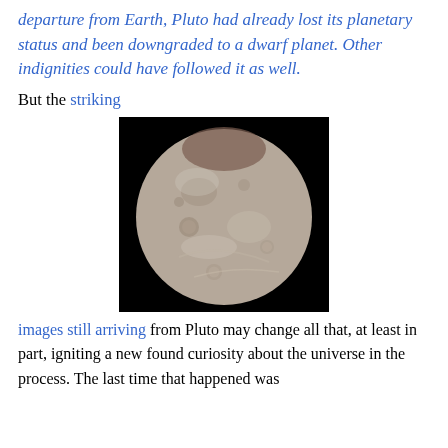departure from Earth, Pluto had already lost its planetary status and been downgraded to a dwarf planet. Other indignities could have followed it as well.
But the striking
[Figure (photo): Close-up photograph of Charon, Pluto's moon, showing a spherical rocky/icy body with craters and surface features against a black background.]
images still arriving from Pluto may change all that, at least in part, igniting a new found curiosity about the universe in the process. The last time that happened was